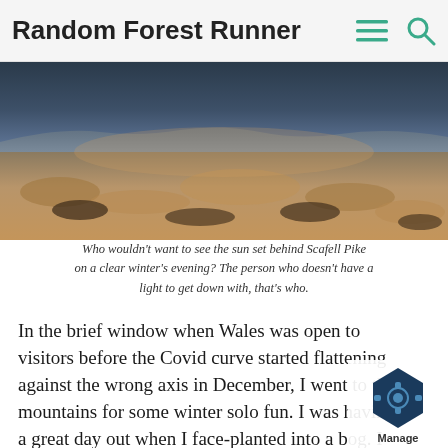Random Forest Runner
[Figure (photo): Panoramic photo of a snowy/sandy mountain landscape at sunset with dark sky above and golden-lit ground below]
Who wouldn't want to see the sun set behind Scafell Pike on a clear winter's evening? The person who doesn't have a light to get down with, that's who.
In the brief window when Wales was open to visitors before the Covid curve started flattening against the wrong axis in December, I went to the mountains for some winter solo fun. I was having a great day out when I face-planted into a bog. I was completely soaked through from head to toe. My hair was we my inner layers were wet, my pack was w (which is why it's a good idea to put spa